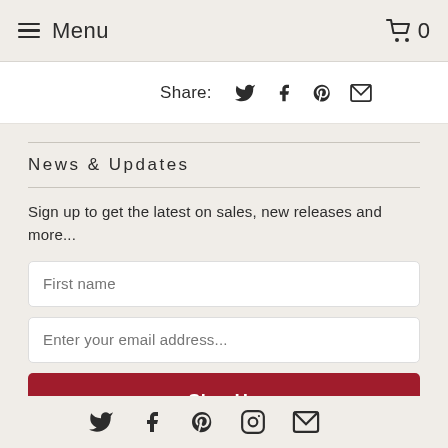Menu  🛒 0
Share:
News & Updates
Sign up to get the latest on sales, new releases and more...
First name
Enter your email address...
Sign Up
Social icons: Twitter, Facebook, Pinterest, Instagram, Email